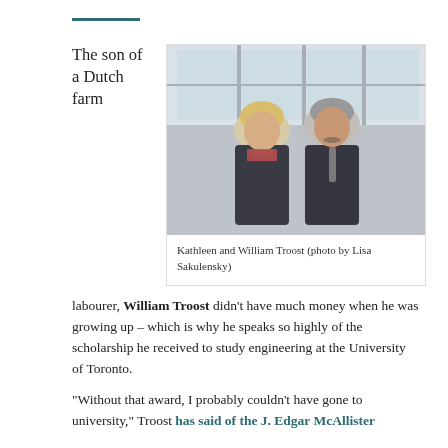The son of a Dutch farm
[Figure (photo): Kathleen and William Troost posing together indoors in front of large windows. Both wearing dark formal attire.]
Kathleen and William Troost (photo by Lisa Sakulensky)
labourer, William Troost didn't have much money when he was growing up – which is why he speaks so highly of the scholarship he received to study engineering at the University of Toronto.
“Without that award, I probably couldn’t have gone to university,” Troost has said of the J. Edgar McAllister